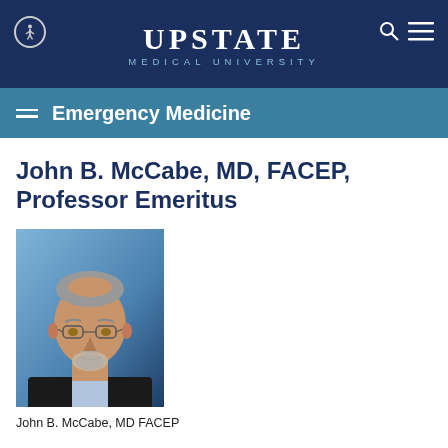UPSTATE MEDICAL UNIVERSITY
Emergency Medicine
John B. McCabe, MD, FACEP, Professor Emeritus
[Figure (photo): Headshot of John B. McCabe, MD FACEP — a middle-aged man with glasses, salt-and-pepper beard, wearing a dark suit jacket and light blue shirt, photographed against a blue background.]
John B. McCabe, MD FACEP